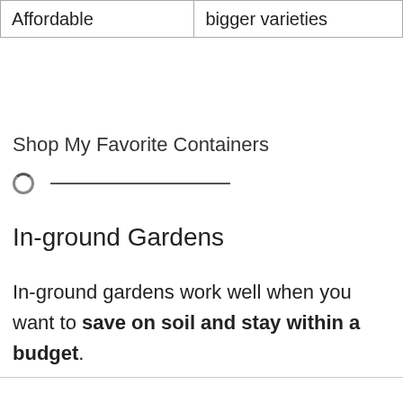| Affordable | bigger varieties |
Shop My Favorite Containers
[Figure (other): Loading spinner icon followed by a horizontal divider line]
In-ground Gardens
In-ground gardens work well when you want to save on soil and stay within a budget.